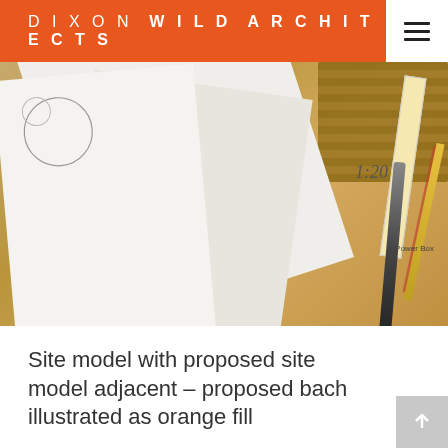DIXON WILD ARCHITECTS
[Figure (photo): Architectural desk scene showing white paper sketches, a cork board, ruler, pencil, and pen on a wooden surface. A number '1:20' is visible on a blueprint-style drawing.]
Site model with proposed site model adjacent – proposed bach illustrated as orange fill